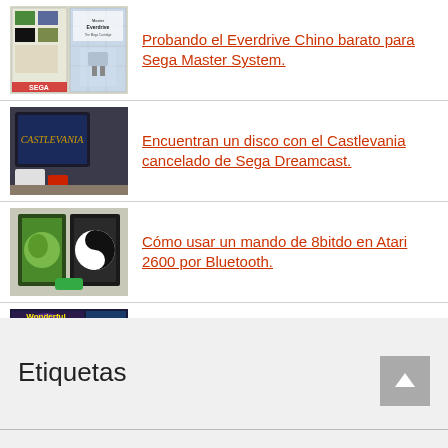[Figure (photo): Thumbnail image of Master Everdrive cartridge product for Sega Master System]
Probando el Everdrive Chino barato para Sega Master System.
[Figure (photo): Thumbnail image of a TV screen showing Castlevania on Sega Dreamcast]
Encuentran un disco con el Castlevania cancelado de Sega Dreamcast.
[Figure (photo): Thumbnail image of 8bitdo controller packaging and accessories]
Cómo usar un mando de 8bitdo en Atari 2600 por Bluetooth.
[Figure (photo): Thumbnail image of Wonderful Dizzy game screenshots]
Wonderful Dizzy. Una nueva aventura del huevo más famoso del Spectrum
Etiquetas